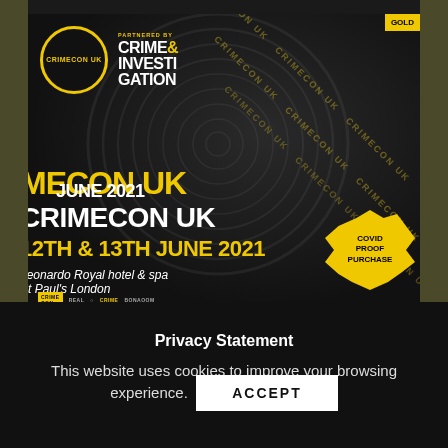[Figure (photo): CrimeCon UK 2021 event promotional poster on dark background. Shows CrimeCon UK logo (yellow circle), partnered by Crime & Investigation, event dates 12th & 13th June 2021, Leonardo Royal hotel & spa, St Paul's London, fingerprint watermarks, repeating 'CRIMECON UK' yellow watermark strips, 'GOLD' badge top right, yellow COVID PROOF PURCHASE splat badge bottom right, and various sponsor logos at the bottom.]
Privacy Statement
This website uses cookies to improve your browsing experience.
ACCEPT